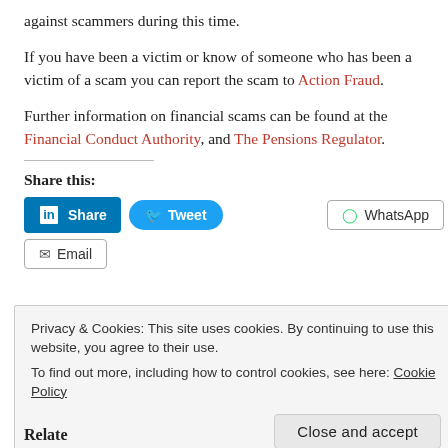against scammers during this time.
If you have been a victim or know of someone who has been a victim of a scam you can report the scam to Action Fraud.
Further information on financial scams can be found at the Financial Conduct Authority, and The Pensions Regulator.
Share this:
[Figure (other): Social share buttons: LinkedIn Share, Tweet, WhatsApp, Email]
Privacy & Cookies: This site uses cookies. By continuing to use this website, you agree to their use. To find out more, including how to control cookies, see here: Cookie Policy
Close and accept
Related